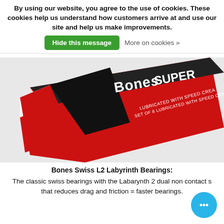By using our website, you agree to the use of cookies. These cookies help us understand how customers arrive at and use our site and help us make improvements.
Hide this message
More on cookies »
[Figure (photo): Bones Super Swiss L2 Labyrinth Bearings product box, shown at an angle. Box is red, black, and white. Text on box reads 'Bones Super' and 'Set of 8 lubricated with speed cream'.]
Bones Swiss L2 Labyrinth Bearings:
The classic swiss bearings with the Labarynth 2 dual non contact s that reduces drag and friction = faster bearings.